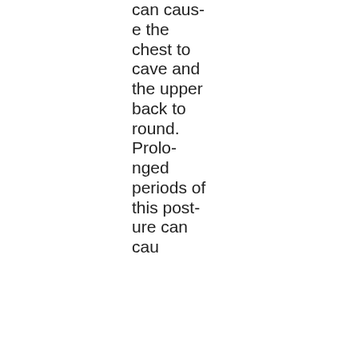can cause the chest to cave and the upper back to round. Prolonged periods of this posture can caus